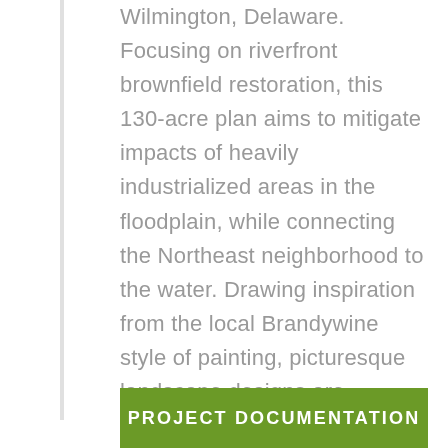Wilmington, Delaware. Focusing on riverfront brownfield restoration, this 130-acre plan aims to mitigate impacts of heavily industrialized areas in the floodplain, while connecting the Northeast neighborhood to the water. Drawing inspiration from the local Brandywine style of painting, picturesque landscape designs are combined with green infrastructure to reduce pollution and flooding while reestablishing the natural beauty of the creek.
PROJECT DOCUMENTATION